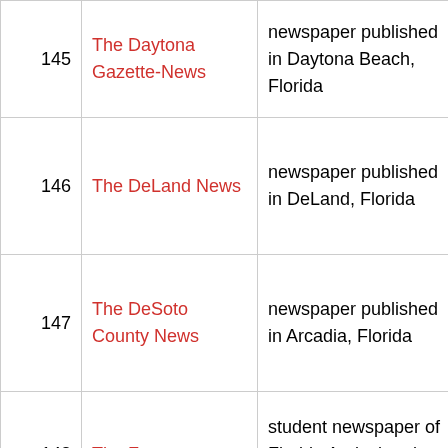| # | Name | Description | Wikidata ID |
| --- | --- | --- | --- |
| 145 | The Daytona Gazette-News | newspaper published in Daytona Beach, Florida | Q10029260 |
| 146 | The DeLand News | newspaper published in DeLand, Florida | Q10029272 |
| 147 | The DeSoto County News | newspaper published in Arcadia, Florida | Q10029312 |
| 148 | The Famuan | student newspaper of Florida Agricultural and | Q10729558 |